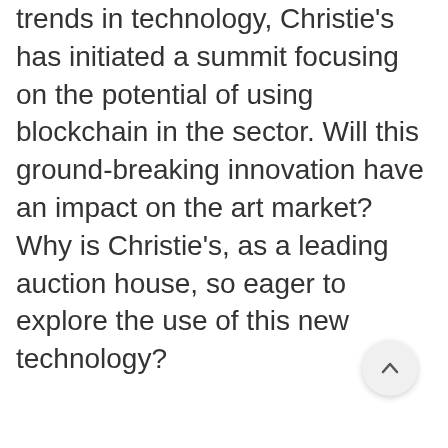trends in technology, Christie's has initiated a summit focusing on the potential of using blockchain in the sector. Will this ground-breaking innovation have an impact on the art market? Why is Christie's, as a leading auction house, so eager to explore the use of this new technology?